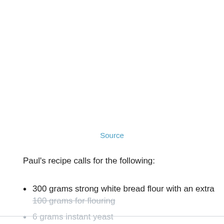Source
Paul's recipe calls for the following:
300 grams strong white bread flour with an extra 100 grams for flouring
6 grams instant yeast